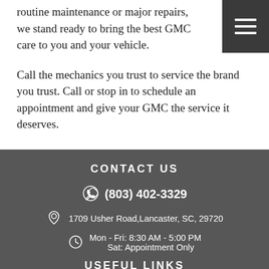routine maintenance or major repairs, we stand ready to bring the best GMC care to you and your vehicle.
Call the mechanics you trust to service the brand you trust. Call or stop in to schedule an appointment and give your GMC the service it deserves.
CONTACT US
(803) 402-3329
1709 Usher Road,Lancaster, SC, 29720
Mon - Fri: 8:30 AM - 5:00 PM
Sat: Appointment Only
USEFUL LINKS